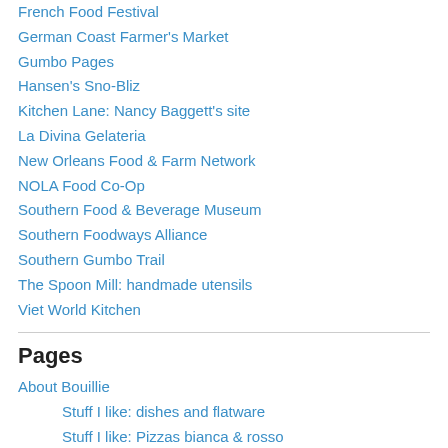French Food Festival
German Coast Farmer's Market
Gumbo Pages
Hansen's Sno-Bliz
Kitchen Lane: Nancy Baggett's site
La Divina Gelateria
New Orleans Food & Farm Network
NOLA Food Co-Op
Southern Food & Beverage Museum
Southern Foodways Alliance
Southern Gumbo Trail
The Spoon Mill: handmade utensils
Viet World Kitchen
Pages
About Bouillie
Stuff I like: dishes and flatware
Stuff I like: Pizzas bianca & rosso